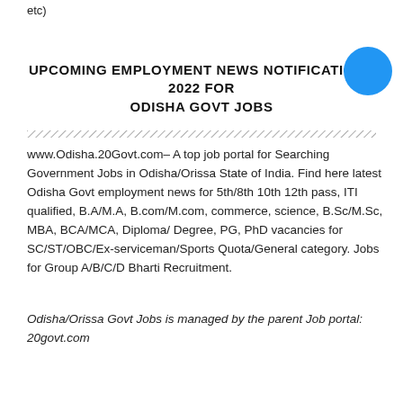etc)
UPCOMING EMPLOYMENT NEWS NOTIFICATIONS 2022 FOR ODISHA GOVT JOBS
www.Odisha.20Govt.com– A top job portal for Searching Government Jobs in Odisha/Orissa State of India. Find here latest Odisha Govt employment news for 5th/8th 10th 12th pass, ITI qualified, B.A/M.A, B.com/M.com, commerce, science, B.Sc/M.Sc, MBA, BCA/MCA, Diploma/ Degree, PG, PhD vacancies for SC/ST/OBC/Ex-serviceman/Sports Quota/General category. Jobs for Group A/B/C/D Bharti Recruitment.
Odisha/Orissa Govt Jobs is managed by the parent Job portal: 20govt.com